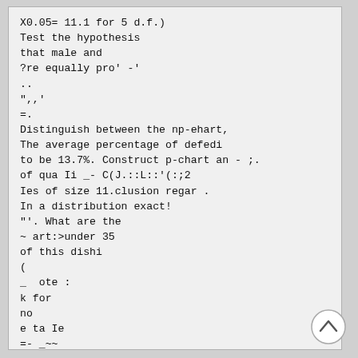X0.05= 11.1 for 5 d.f.)
Test the hypothesis
that male and
?re equally pro' -'
..
",,'
=.
Distinguish between the np-ehart,
The average percentage of defedi
to be 13.7%. Construct p-chart an - ;.
of qua Ii _- C(J.::L::'(:;2
Ies of size 11.clusion regar .
In a distribution exact!
"'. What are the
~ art:>under 35
of this dishi
(
_  ote :
k for
no
e ta Ie
=- _~~
curve from c.5.)
[Figure (other): Back to top button: circular button with an upward-pointing chevron arrow]